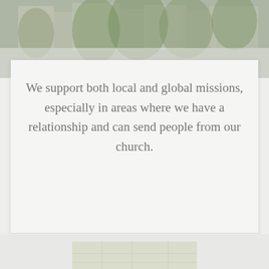[Figure (photo): Faded photograph of a town with buildings and trees, used as a decorative header image with a light overlay]
We support both local and global missions, especially in areas where we have a relationship and can send people from our church.
[Figure (map): Partial map preview visible at the bottom of the page]